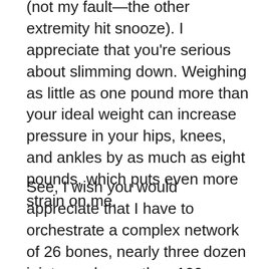(not my fault—the other extremity hit snooze). I appreciate that you're serious about slimming down. Weighing as little as one pound more than your ideal weight can increase pressure in your hips, knees, and ankles by as much as eight pounds, which puts even more strain on me.
See, I wish you would appreciate that I have to orchestrate a complex network of 26 bones, nearly three dozen joints, and more than 100 muscles, tendons, and ligaments for every single step you take. It's a high-pressure job that, frankly, you sometimes make harder without meaning to.